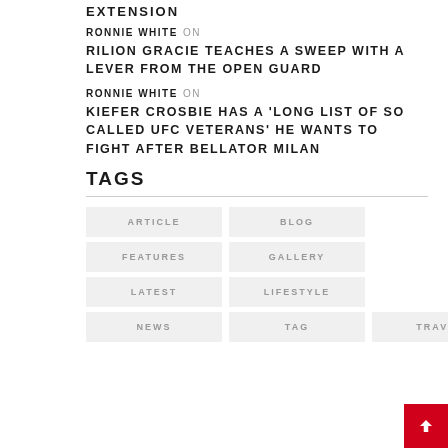EXTENSION
RONNIE WHITE ON
RILION GRACIE TEACHES A SWEEP WITH A LEVER FROM THE OPEN GUARD
RONNIE WHITE ON
KIEFER CROSBIE HAS A 'LONG LIST OF SO CALLED UFC VETERANS' HE WANTS TO FIGHT AFTER BELLATOR MILAN
TAGS
ARTICLE
BLOG
FEATURES
GALLERY
LATEST
LIFESTYLE
NEWS
TAG
TRAVEL